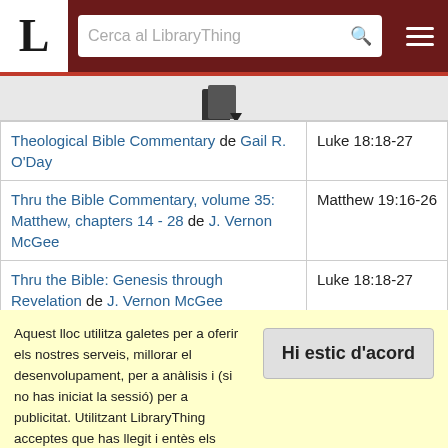LibraryThing header with logo L, search bar 'Cerca al LibraryThing', and menu icon
[Figure (other): Document/book icon with a small arrow, on grey background]
| Book | Passage |
| --- | --- |
| Theological Bible Commentary de Gail R. O'Day | Luke 18:18-27 |
| Thru the Bible Commentary, volume 35: Matthew, chapters 14 - 28 de J. Vernon McGee | Matthew 19:16-26 |
| Thru the Bible: Genesis through Revelation de J. Vernon McGee | Luke 18:18-27 |
| The Transforming Word: A One-Volume Commentary on the Bible de Mark Strauss | Luke 18:18-27 |
Aquest lloc utilitza galetes per a oferir els nostres serveis, millorar el desenvolupament, per a anàlisis i (si no has iniciat la sessió) per a publicitat. Utilitzant LibraryThing acceptes que has llegit i entès els nostres Termes de servei i política de privacitat. L'ús que facis del lloc i dels seus serveis està subjecte a aquestes polítiques i termes.
Hi estic d'acord